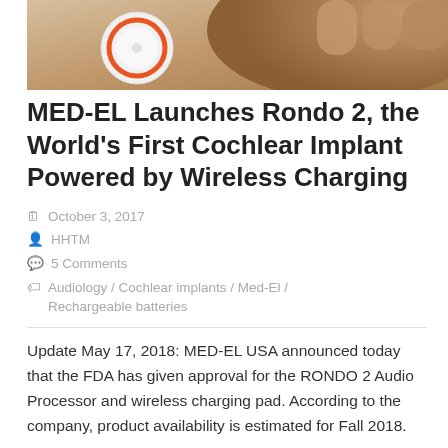[Figure (photo): Photo of a white circular cochlear implant audio processor with an orange ring, being held or touched by an elderly person's hand on a wooden surface.]
MED-EL Launches Rondo 2, the World’s First Cochlear Implant Powered by Wireless Charging
October 3, 2017
HHTM
5 Comments
Audiology / Cochlear implants / Med-El / Rechargeable batteries
Update May 17, 2018: MED-EL USA announced today that the FDA has given approval for the RONDO 2 Audio Processor and wireless charging pad. According to the company, product availability is estimated for Fall 2018.